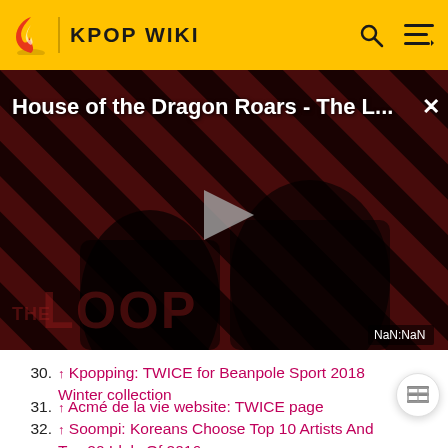KPOP WIKI
[Figure (screenshot): Video thumbnail for 'House of the Dragon Roars - The L...' with play button, diagonal red and dark stripe pattern background, silhouette figures, and 'THE LOOP' text watermark. Timestamp shows NaN:NaN.]
30. ↑ Kpopping: TWICE for Beanpole Sport 2018 Winter collection
31. ↑ Acmé de la vie website: TWICE page
32. ↑ Soompi: Koreans Choose Top 10 Artists And Top 20 Idols Of 2016